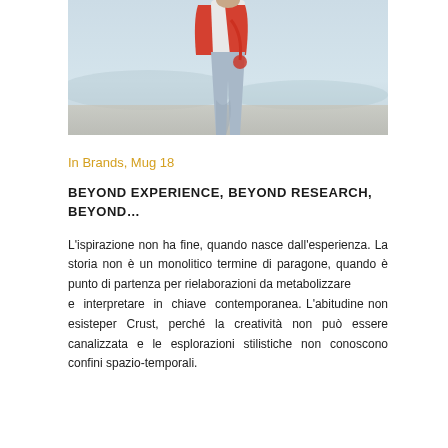[Figure (photo): Fashion photo of a person in a red jacket and light jeans walking on a beach, partially cropped]
In Brands, Mug 18
BEYOND EXPERIENCE, BEYOND RESEARCH, BEYOND…
L'ispirazione non ha fine, quando nasce dall'esperienza. La storia non è un monolitico termine di paragone, quando è punto di partenza per rielaborazioni da metabolizzare
e interpretare in chiave contemporanea. L'abitudine non esisteper Crust, perché la creatività non può essere canalizzata e le esplorazioni stilistiche non conoscono confini spazio-temporali.